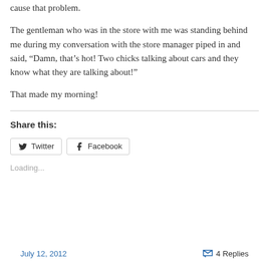cause that problem.
The gentleman who was in the store with me was standing behind me during my conversation with the store manager piped in and said, “Damn, that’s hot! Two chicks talking about cars and they know what they are talking about!”
That made my morning!
Share this:
Loading...
July 12, 2012    4 Replies